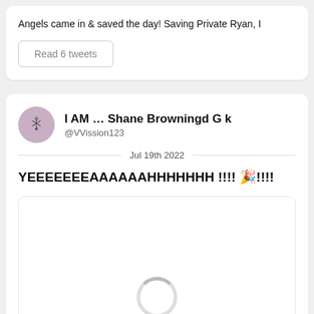Angels came in & saved the day! Saving Private Ryan, I
Read 6 tweets
I AM … Shane Browningd G k @VVission123
Jul 19th 2022
YEEEEEEEAAAAAAHHHHHHH !!!! 🎉!!!!
[Figure (other): Loading spinner / image loading indicator at the bottom of a tweet card]